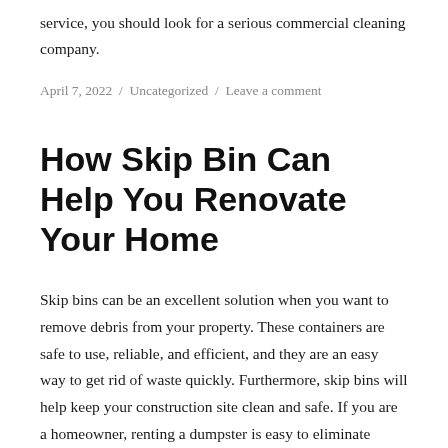service, you should look for a serious commercial cleaning company.
April 7, 2022 / Uncategorized / Leave a comment
How Skip Bin Can Help You Renovate Your Home
Skip bins can be an excellent solution when you want to remove debris from your property. These containers are safe to use, reliable, and efficient, and they are an easy way to get rid of waste quickly. Furthermore, skip bins will help keep your construction site clean and safe. If you are a homeowner, renting a dumpster is easy to eliminate waste and keep your property looking beautiful. Moreover,